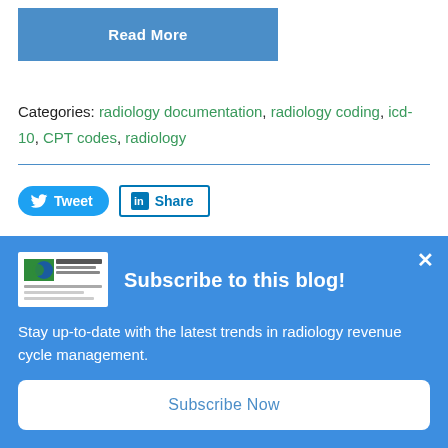[Figure (other): Read More button in blue]
Categories: radiology documentation, radiology coding, icd-10, CPT codes, radiology
[Figure (other): Tweet and Share social buttons]
[Figure (other): Subscribe to this blog banner with logo, description, and Subscribe Now button]
Stay up-to-date with the latest trends in radiology revenue cycle management.
Subscribe Now